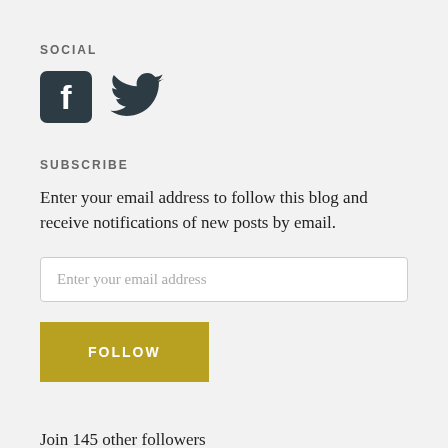SOCIAL
[Figure (illustration): Facebook and Twitter social media icons, dark colored]
SUBSCRIBE
Enter your email address to follow this blog and receive notifications of new posts by email.
Enter your email address
FOLLOW
Join 145 other followers